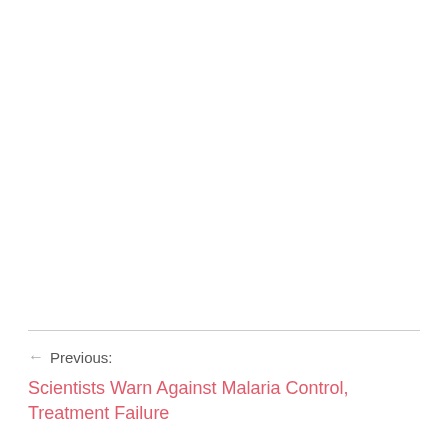← Previous: Scientists Warn Against Malaria Control, Treatment Failure